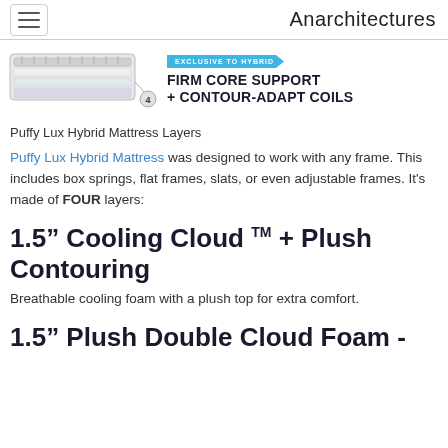Anarchitectures
[Figure (illustration): Mattress cross-section diagram showing layered foam/coil construction with a number 4 callout circle, and a banner reading EXCLUSIVE TO HYBRID / FIRM CORE SUPPORT + CONTOUR-ADAPT COILS]
Puffy Lux Hybrid Mattress Layers
Puffy Lux Hybrid Mattress was designed to work with any frame. This includes box springs, flat frames, slats, or even adjustable frames. It's made of FOUR layers:
1.5” Cooling Cloud TM + Plush Contouring
Breathable cooling foam with a plush top for extra comfort.
1.5” Plush Double Cloud Foam -